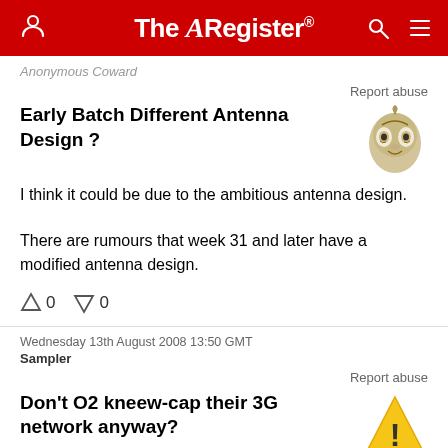The Register
Anonymous Coward
Report abuse
Early Batch Different Antenna Design ?
I think it could be due to the ambitious antenna design.

There are rumours that week 31 and later have a modified antenna design.
0  0
Wednesday 13th August 2008 13:50 GMT
Sampler
Report abuse
Don't O2 kneew-cap their 3G network anyway?
I'm sure I read about them artificially slowing down their